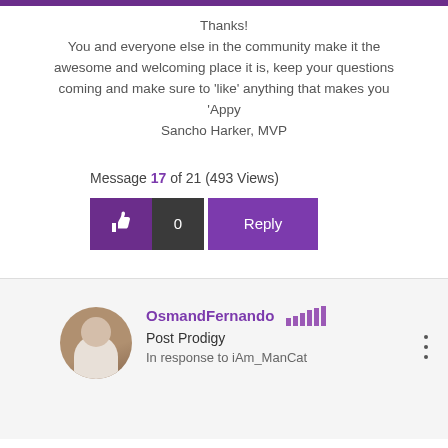Thanks!
You and everyone else in the community make it the awesome and welcoming place it is, keep your questions coming and make sure to 'like' anything that makes you 'Appy
Sancho Harker, MVP
Message 17 of 21 (493 Views)
OsmandFernando
Post Prodigy
In response to iAm_ManCat